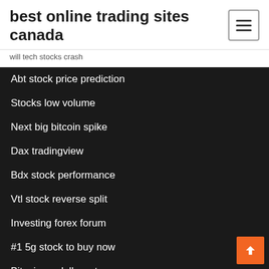best online trading sites canada
will tech stocks crash
Abt stock price prediction
Stocks low volume
Next big bitcoin spike
Dax tradingview
Bdx stock performance
Vtl stock reverse split
Investing forex forum
#1 5g stock to buy now
Bitcoin us dollar rate
5 reasons why trading is important